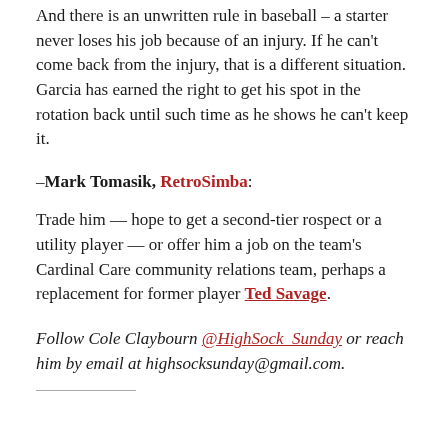And there is an unwritten rule in baseball – a starter never loses his job because of an injury. If he can't come back from the injury, that is a different situation. Garcia has earned the right to get his spot in the rotation back until such time as he shows he can't keep it.
–Mark Tomasik, RetroSimba:
Trade him — hope to get a second-tier rospect or a utility player — or offer him a job on the team's Cardinal Care community relations team, perhaps a replacement for former player Ted Savage.
Follow Cole Claybourn @HighSock_Sunday or reach him by email at highsocksunday@gmail.com.